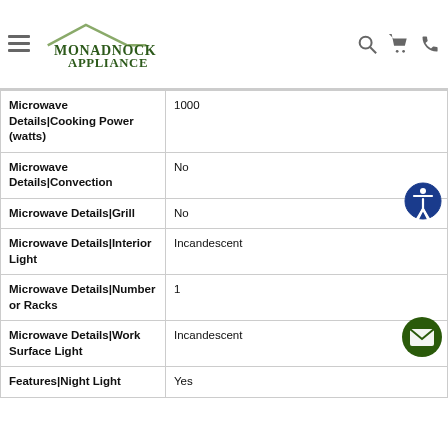Monadnock Appliance
| Feature | Value |
| --- | --- |
| Microwave Details|Cooking Power (watts) | 1000 |
| Microwave Details|Convection | No |
| Microwave Details|Grill | No |
| Microwave Details|Interior Light | Incandescent |
| Microwave Details|Number or Racks | 1 |
| Microwave Details|Work Surface Light | Incandescent |
| Features|Night Light | Yes |